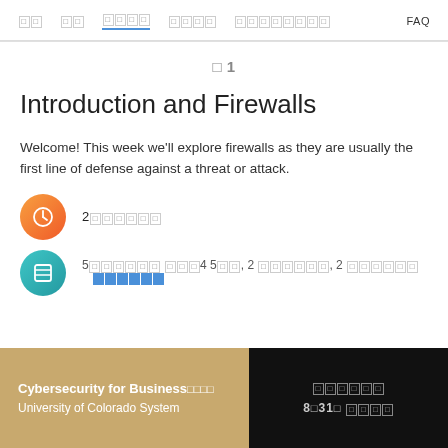□□  □□  □□□□  □□□□  □□□□□□□□  FAQ
□ 1
Introduction and Firewalls
Welcome! This week we'll explore firewalls as they are usually the first line of defense against a threat or attack.
2□□□□□□
5□□□□□□ □□□4 5□□, 2 □□□□□□, 2 □□□□□□  □□□□□□
Cybersecurity for Business□□□□  University of Colorado System  □□□□□□  8□31□ □□□□